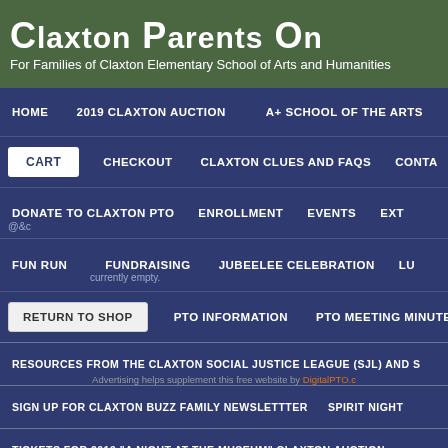Claxton Parents On
For Families of Claxton Elementary School of Arts and Humanities
HOME | 2019 CLAXTON AUCTION | A+ SCHOOL OF THE ARTS
CART | CHECKOUT | CLAXTON CLUES AND FAQS | CONTA
DONATE TO CLAXTON PTO | ENROLLMENT | EVENTS | EXT
FUN RUN | FUNDRAISING | JUBEELEE CELEBRATION | LU
Return To Shop | PTO INFORMATION | PTO MEETING MINUTES
RESOURCES FROM THE CLAXTON SOCIAL JUSTICE LEAGUE (SJL) AND S
SIGN UP FOR CLAXTON BUZZ FAMILY NEWSLETTTER | SPIRIT NIGHT
TICKETS FOR 2019 "A NIGHT AT THE MUSEUM" CLAXTON AUCTION